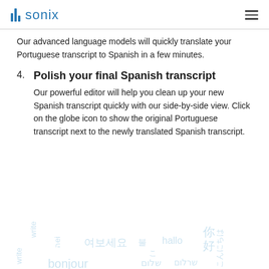sonix
Our advanced language models will quickly translate your Portuguese transcript to Spanish in a few minutes.
4. Polish your final Spanish transcript
Our powerful editor will help you clean up your new Spanish transcript quickly with our side-by-side view. Click on the globe icon to show the original Portuguese transcript next to the newly translated Spanish transcript.
[Figure (illustration): Watermark background with multilingual words in light blue: 여보세요, hallo, 你好, bonjour, שלום, and others overlapping in a decorative pattern]